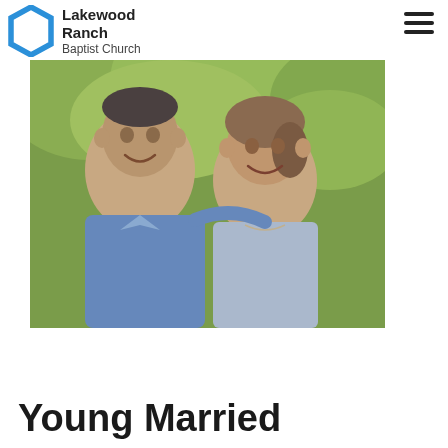Lakewood Ranch Baptist Church
[Figure (photo): A smiling couple outdoors with green foliage in background. Man on left wearing blue shirt, woman on right wearing light blue top.]
Young Married